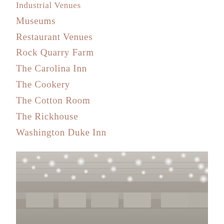Industrial Venues
Museums
Restaurant Venues
Rock Quarry Farm
The Carolina Inn
The Cookery
The Cotton Room
The Rickhouse
Washington Duke Inn
[Figure (photo): Indoor venue with string lights hanging overhead above rectangular tables, black and white/grey tone photography]